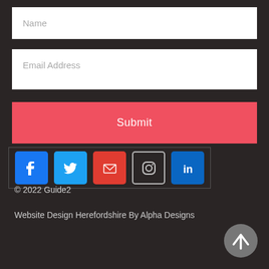Name
Email Address
Submit
[Figure (infographic): Social media icons row: Facebook (blue), Twitter (blue), Email (red), Instagram (outline), LinkedIn (blue)]
© 2022 Guide2
Website Design Herefordshire By Alpha Designs